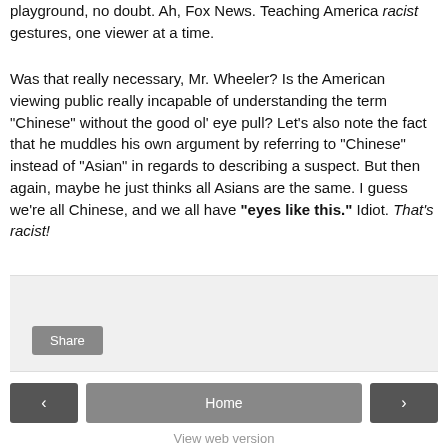playground, no doubt. Ah, Fox News. Teaching America racist gestures, one viewer at a time.
Was that really necessary, Mr. Wheeler? Is the American viewing public really incapable of understanding the term "Chinese" without the good ol' eye pull? Let's also note the fact that he muddles his own argument by referring to "Chinese" instead of "Asian" in regards to describing a suspect. But then again, maybe he just thinks all Asians are the same. I guess we're all Chinese, and we all have "eyes like this." Idiot. That's racist!
[Figure (other): Share button area with light gray background]
< Home > View web version